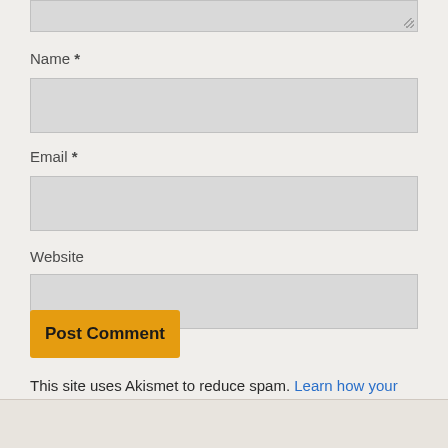[Figure (screenshot): Partial textarea input box at top of page with resize handle in bottom-right corner]
Name *
[Figure (screenshot): Name input field (gray rectangle)]
Email *
[Figure (screenshot): Email input field (gray rectangle)]
Website
[Figure (screenshot): Website input field (gray rectangle)]
[Figure (screenshot): Post Comment button in amber/orange color]
This site uses Akismet to reduce spam. Learn how your comment data is processed.